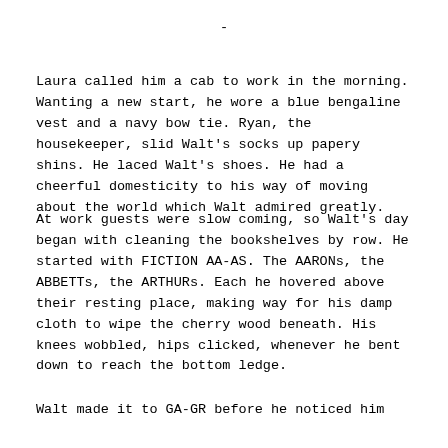-
Laura called him a cab to work in the morning. Wanting a new start, he wore a blue bengaline vest and a navy bow tie. Ryan, the housekeeper, slid Walt's socks up papery shins. He laced Walt's shoes. He had a cheerful domesticity to his way of moving about the world which Walt admired greatly.
At work guests were slow coming, so Walt's day began with cleaning the bookshelves by row. He started with FICTION AA-AS. The AARONs, the ABBETTs, the ARTHURs. Each he hovered above their resting place, making way for his damp cloth to wipe the cherry wood beneath. His knees wobbled, hips clicked, whenever he bent down to reach the bottom ledge.
Walt made it to GA-GR before he noticed him